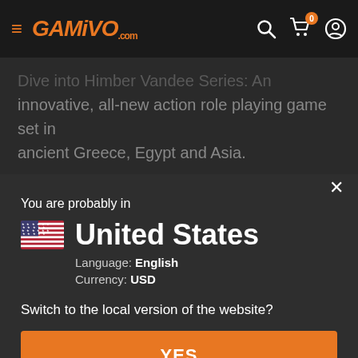GAMIVO.com
innovative, all-new action role playing game set in ancient Greece, Egypt and Asia.
The Titans have escaped their eternal prison, wreaking havoc upon the earth. The gods seek a hero who can
You are probably in
United States
Language: English
Currency: USD
Switch to the local version of the website?
YES